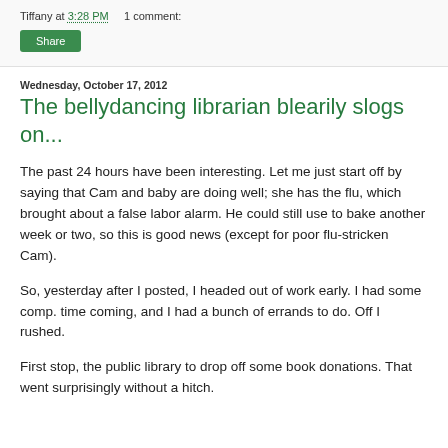Tiffany at 3:28 PM    1 comment:
Share
Wednesday, October 17, 2012
The bellydancing librarian blearily slogs on...
The past 24 hours have been interesting. Let me just start off by saying that Cam and baby are doing well; she has the flu, which brought about a false labor alarm. He could still use to bake another week or two, so this is good news (except for poor flu-stricken Cam).
So, yesterday after I posted, I headed out of work early. I had some comp. time coming, and I had a bunch of errands to do. Off I rushed.
First stop, the public library to drop off some book donations. That went surprisingly without a hitch.